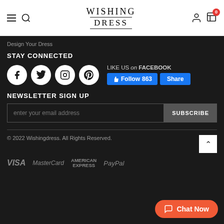WISHING DRESS
Design Your Dress
STAY CONNECTED
[Figure (other): Social media icons: Facebook, Twitter, Instagram, Pinterest circles, plus Facebook Like Us widget with Follow 863 and Share buttons]
NEWSLETTER SIGN UP
enter your email address
SUBSCRIBE
© 2022 Wishingdress. All Rights Reserved.
[Figure (other): Payment logos: VISA, MasterCard, AMERICAN EXPRESS, PayPal]
Chat Now